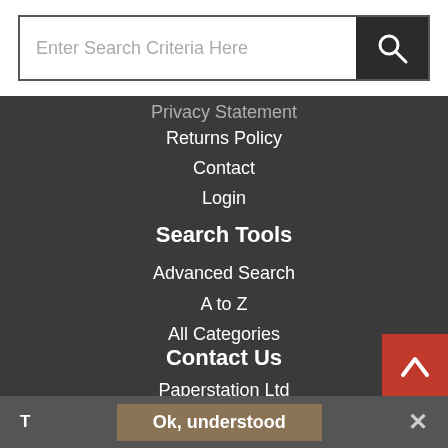[Figure (screenshot): Search bar with text input 'Enter Search Criteria Here' and dark search button with magnifying glass icon]
Privacy Statement
Returns Policy
Contact
Login
Search Tools
Advanced Search
A to Z
All Categories
Contact Us
Paperstation Ltd
Unit 12, Britannia Business Centre
Britannia Way, Enigma Business Park
T   Ok, understood   ✕